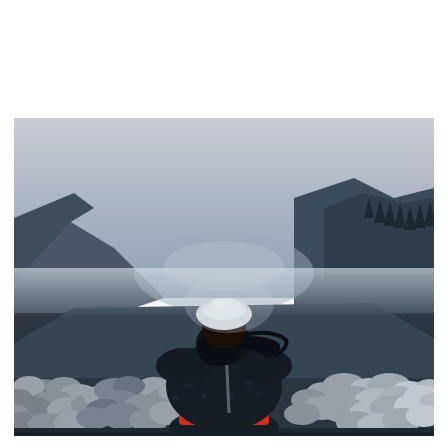[Figure (photo): A person seen from behind, wearing a dark floral jacket and a white hat, looking out over a large herd of sheep or goats in a wide mountain valley. The landscape features rolling hills and forested slopes under a hazy, overcast sky. The figure has long dark hair and a red waistband or belt.]